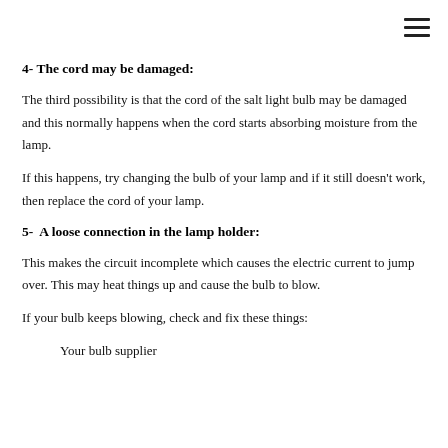4- The cord may be damaged:
The third possibility is that the cord of the salt light bulb may be damaged and this normally happens when the cord starts absorbing moisture from the lamp.
If this happens, try changing the bulb of your lamp and if it still doesn't work, then replace the cord of your lamp.
5-  A loose connection in the lamp holder:
This makes the circuit incomplete which causes the electric current to jump over. This may heat things up and cause the bulb to blow.
If your bulb keeps blowing, check and fix these things:
Your bulb supplier